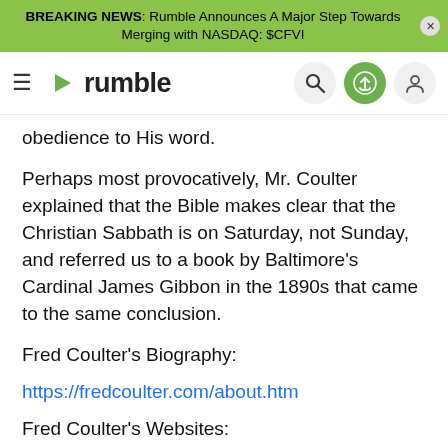BREAKING NEWS: Rumble Announces A Major Step Towards Merging with NASDAQ: $CFVI
[Figure (logo): Rumble video platform logo with hamburger menu, search, upload, and user icons in navigation bar]
obedience to His word.
Perhaps most provocatively, Mr. Coulter explained that the Bible makes clear that the Christian Sabbath is on Saturday, not Sunday, and referred us to a book by Baltimore's Cardinal James Gibbon in the 1890s that came to the same conclusion.
Fred Coulter's Biography:
https://fredcoulter.com/about.htm
Fred Coulter's Websites:
https://truthofgod.org